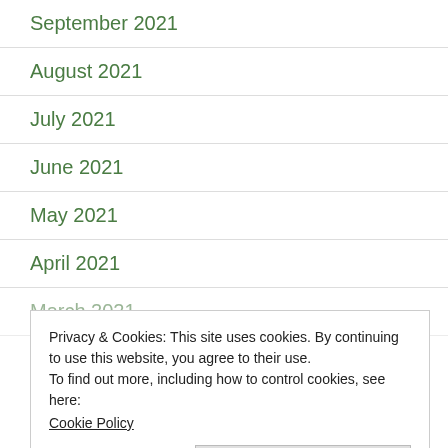September 2021
August 2021
July 2021
June 2021
May 2021
April 2021
March 2021
Privacy & Cookies: This site uses cookies. By continuing to use this website, you agree to their use.
To find out more, including how to control cookies, see here:
Cookie Policy
December 2020